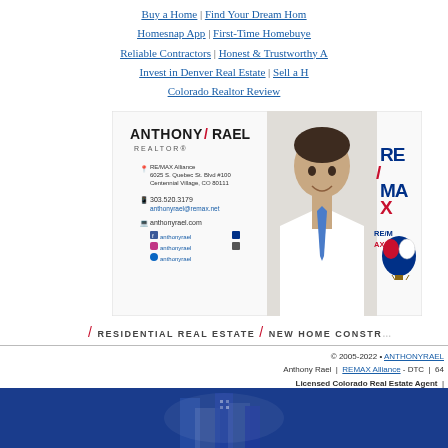Buy a Home | Find Your Dream Home | Homesnap App | First-Time Homebuyer | Reliable Contractors | Honest & Trustworthy | Invest in Denver Real Estate | Sell a Home | Colorado Realtor Review
[Figure (photo): Anthony Rael REALTOR business card with photo, RE/MAX Alliance contact info, phone 303.520.3179, anthonyrael.com, social media icons, and RE/MAX logo with balloon]
/ RESIDENTIAL REAL ESTATE / NEW HOME CONSTRUCTION
© 2005-2022 • ANTHONYRAEL | Anthony Rael | REMAX Alliance - DTC | Licensed Colorado Real Estate Agent | AnthonyRael.REALTOR | HomesInColorado | REMAX | RE/MAX, LLC
[Figure (illustration): Blue banner at bottom of page with partial building/cityscape illustration]